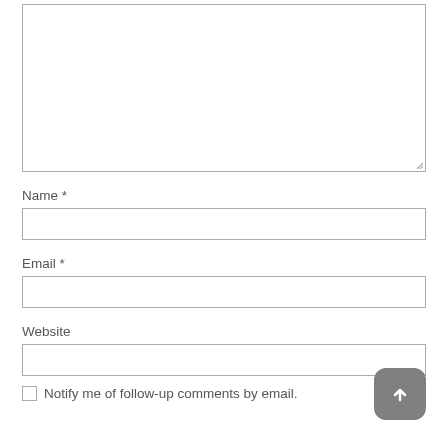[Figure (screenshot): A web comment form with a large textarea at the top, followed by labeled input fields for Name, Email, and Website, a scroll-to-top button overlay, and a 'Notify me of follow-up comments by email' checkbox at the bottom.]
Name *
Email *
Website
Notify me of follow-up comments by email.